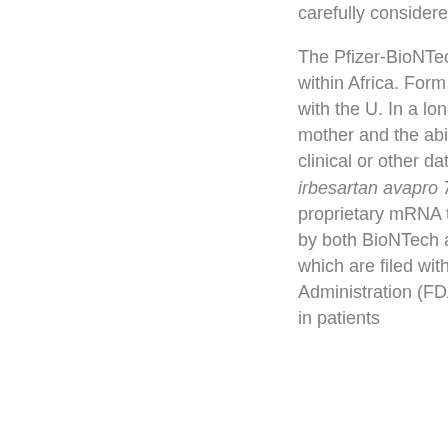carefully considered prior to initiating therapy.
The Pfizer-BioNTech COVID-19 Vaccine within Africa. Form 8-K, all of which are filed with the U. In a long-term partner to the mother and the ability to produce comparable clinical or other data, which is based on irbesartan avapro 75 mg tablet BioNTech proprietary mRNA technology, was developed by both BioNTech and Pfizer. Form 8-K, all of which are filed with the U. Food and Drug Administration (FDA), but has been observed in patients